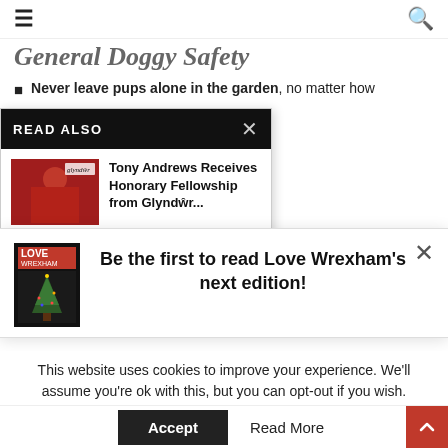☰  🔍
General Doggy Safety
Never leave pups alone in the garden, no matter how ... 50% of all dogs stolen are ... Top up the security of all
car – puppies can be easy
READ ALSO
Tony Andrews Receives Honorary Fellowship from Glyndŵr...
[Figure (photo): Photo of a person in academic regalia (red gown, black mortarboard) with Glyndŵr university branding]
Be the first to read Love Wrexham's next edition!
[Figure (photo): Love Wrexham magazine cover with Christmas tree image]
Sign up here and we'll email you when it's online
This website uses cookies to improve your experience. We'll assume you're ok with this, but you can opt-out if you wish
Accept   Read More